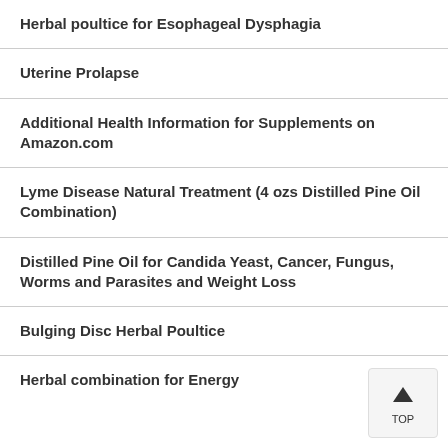Herbal poultice for Esophageal Dysphagia
Uterine Prolapse
Additional Health Information for Supplements on Amazon.com
Lyme Disease Natural Treatment (4 ozs Distilled Pine Oil Combination)
Distilled Pine Oil for Candida Yeast, Cancer, Fungus, Worms and Parasites and Weight Loss
Bulging Disc Herbal Poultice
Herbal combination for Energy